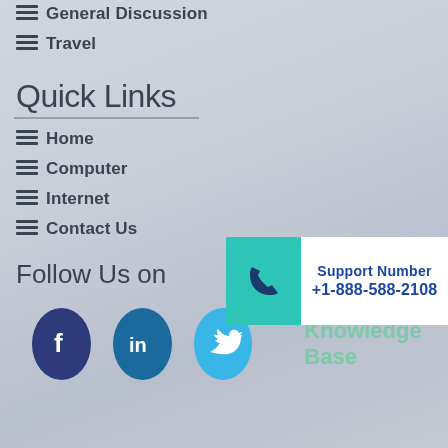General Discussion
Travel
Quick Links
Home
Computer
Internet
Contact Us
[Figure (infographic): Support Number box with teal phone icon panel and text: Support Number +1-888-588-2108]
Follow Us on
[Figure (infographic): Social media icons: Facebook (dark blue circle with f), LinkedIn (medium blue circle with in), Twitter (light blue circle with bird). Knowledge Base text in light teal.]